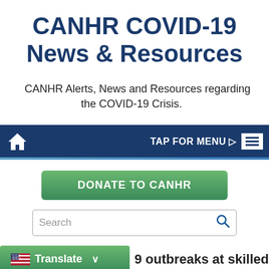CANHR COVID-19 News & Resources
CANHR Alerts, News and Resources regarding the COVID-19 Crisis.
[Figure (screenshot): Navigation bar with home icon on left and TAP FOR MENU with hamburger icon on right, dark navy background]
[Figure (screenshot): Green gradient DONATE TO CANHR button]
[Figure (screenshot): Search input field with magnifying glass icon]
[Figure (screenshot): Translate button with US flag and chevron, partial text reading 'outbreaks at skilled']